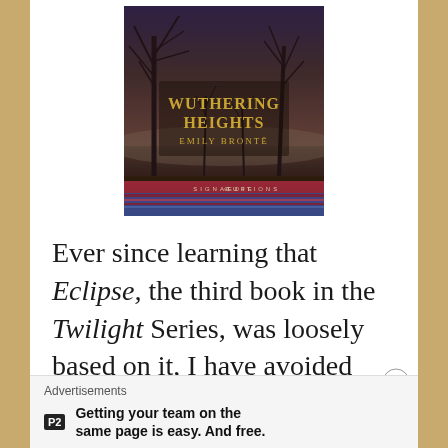[Figure (illustration): Book cover of Wuthering Heights by Emily Brontë, Signature Editions. Dark moody landscape with bare trees against a twilight sky. Title in gold serif letters, author name below, Signature Editions banner at bottom.]
Ever since learning that Eclipse, the third book in the Twilight Series, was loosely based on it, I have avoided
Advertisements
Getting your team on the same page is easy. And free.